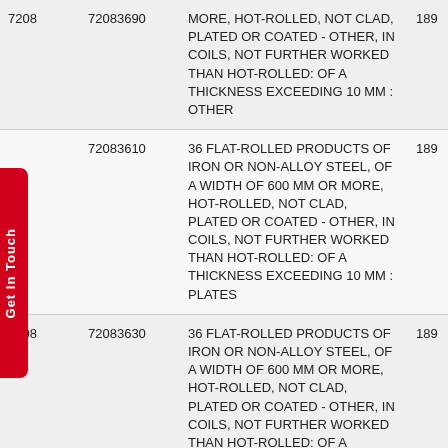| HS Code | Sub-code | Description | Rate |
| --- | --- | --- | --- |
| 7208 | 72083690 | MORE, HOT-ROLLED, NOT CLAD, PLATED OR COATED - OTHER, IN COILS, NOT FURTHER WORKED THAN HOT-ROLLED: OF A THICKNESS EXCEEDING 10 MM : OTHER | 189 |
|  | 72083610 | 36 FLAT-ROLLED PRODUCTS OF IRON OR NON-ALLOY STEEL, OF A WIDTH OF 600 MM OR MORE, HOT-ROLLED, NOT CLAD, PLATED OR COATED - OTHER, IN COILS, NOT FURTHER WORKED THAN HOT-ROLLED: OF A THICKNESS EXCEEDING 10 MM : PLATES | 189 |
| 7208 | 72083630 | 36 FLAT-ROLLED PRODUCTS OF IRON OR NON-ALLOY STEEL, OF A WIDTH OF 600 MM OR MORE, HOT-ROLLED, NOT CLAD, PLATED OR COATED - OTHER, IN COILS, NOT FURTHER WORKED THAN HOT-ROLLED: OF A THICKNESS EXCEEDING 10 | 189 |